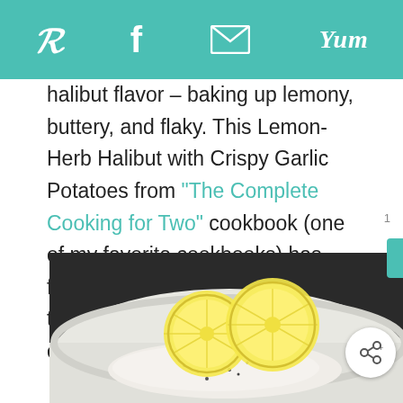Social share toolbar with Pinterest, Facebook, Email, Yum icons
halibut flavor – baking up lemony, buttery, and flaky. This Lemon-Herb Halibut with Crispy Garlic Potatoes from “The Complete Cooking for Two” cookbook (one of my favorite cookbooks) has few ingredients, and maintains the integrity of the fish without overwhelming it.
[Figure (photo): Photo of baked halibut fillet topped with lemon slices on a white plate, with dark background]